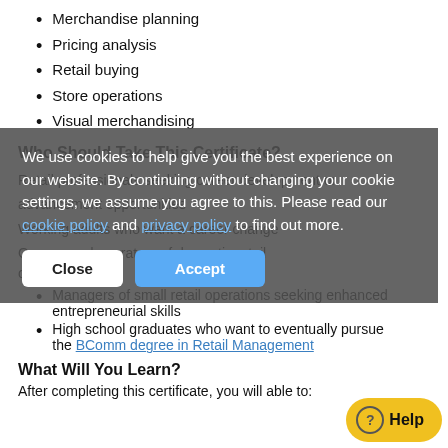Merchandise planning
Pricing analysis
Retail buying
Store operations
Visual merchandising
Who Should Take This Certificate?
Retail professionals seeking career development or advancement opportunities
Working adults who want a career change
Owners and operators of domestic retail organizations
Managers of small retail operations seeking enhanced entrepreneurial skills
High school graduates who want to eventually pursue the BComm degree in Retail Management
What Will You Learn?
After completing this certificate, you will able to: